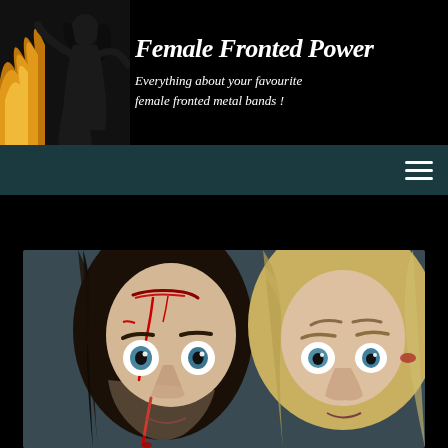[Figure (photo): Website header banner with black background. Left side shows a female singer performing on stage with fire/flames behind her. Right side displays the site title and tagline in italic white script font.]
Female Fronted Power
Everything about your favourite female fronted metal bands !
[Figure (screenshot): Navigation bar in dark teal color with a hamburger menu icon (three horizontal lines) on the right side.]
[Figure (photo): Close-up photo of two women with dramatic horror makeup — fake blood and wounds. The woman on the left has dark hair with a bloody gash on her forehead and blood dripping from her nose. The woman on the right has blonde/light hair and appears alarmed. Both have wide, startled blue eyes. Dark grey background.]